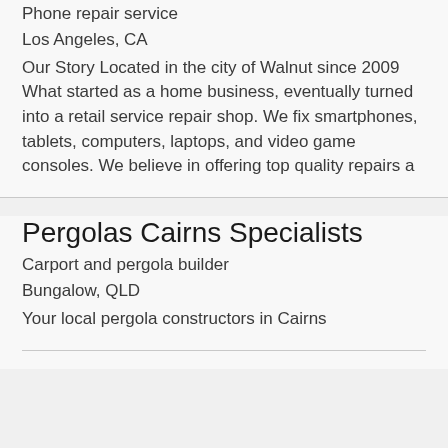Phone repair service
Los Angeles, CA
Our Story Located in the city of Walnut since 2009 What started as a home business, eventually turned into a retail service repair shop. We fix smartphones, tablets, computers, laptops, and video game consoles. We believe in offering top quality repairs a
Pergolas Cairns Specialists
Carport and pergola builder
Bungalow, QLD
Your local pergola constructors in Cairns